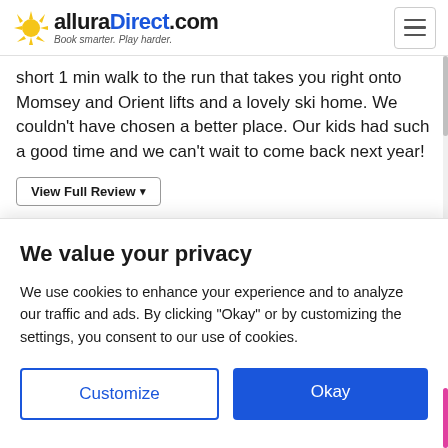alluraDirect.com — Book smarter. Play harder.
short 1 min walk to the run that takes you right onto Momsey and Orient lifts and a lovely ski home. We couldn't have chosen a better place. Our kids had such a good time and we can't wait to come back next year!
View Full Review ▾
Sun Peaks!!!!
★★★★★
We value your privacy
We use cookies to enhance your experience and to analyze our traffic and ads. By clicking "Okay" or by customizing the settings, you consent to our use of cookies.
Customize
Okay